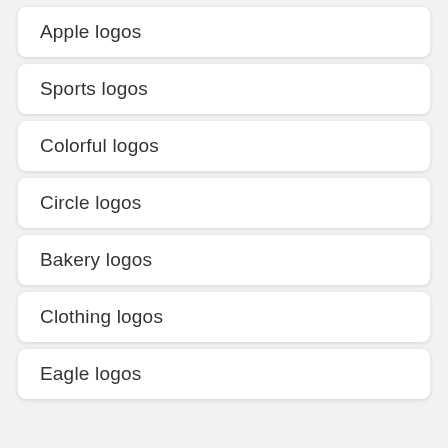Apple logos
Sports logos
Colorful logos
Circle logos
Bakery logos
Clothing logos
Eagle logos